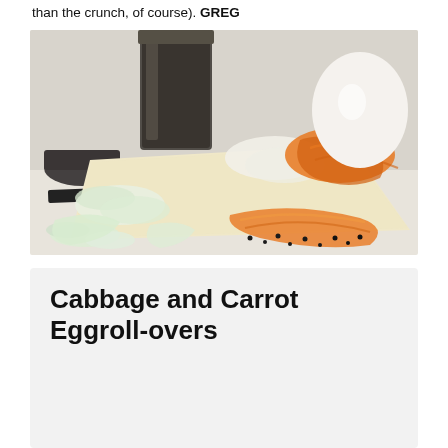than the crunch, of course). GREG
[Figure (photo): Food preparation ingredients on a white surface: egg roll wrappers laid flat, shredded orange carrots, chopped cabbage/onion, a whole egg, a glass jar with dark seasoning, and a knife, all arranged on a white countertop.]
Cabbage and Carrot Eggroll-overs